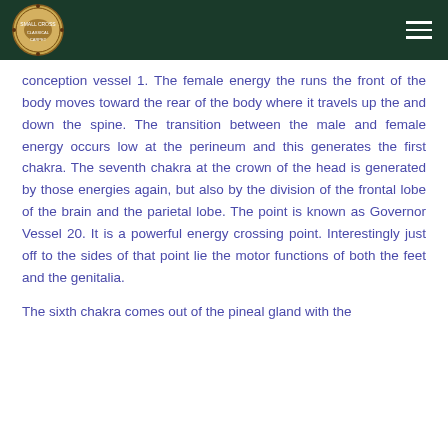conception vessel 1.  The female energy the runs the front of the body moves toward the rear of the body where it travels up the and down the spine.  The transition between the male and female energy occurs low at the perineum and this generates the first chakra.  The seventh chakra at the crown of the head is generated by those energies again, but also by the division of the frontal lobe of the brain and the parietal lobe.  The point is known as Governor Vessel 20.  It is a powerful energy crossing point.  Interestingly just off to the sides of that point lie the motor functions of both the feet and the genitalia.
The sixth chakra comes out of the pineal gland with the